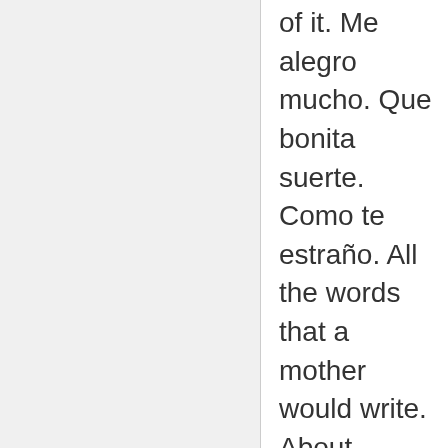of it. Me alegro mucho. Que bonita suerte. Como te estraño. All the words that a mother would write. About happiness, the good luck that her son was enjoying in that rich country. His mother was so happy he was making a life for